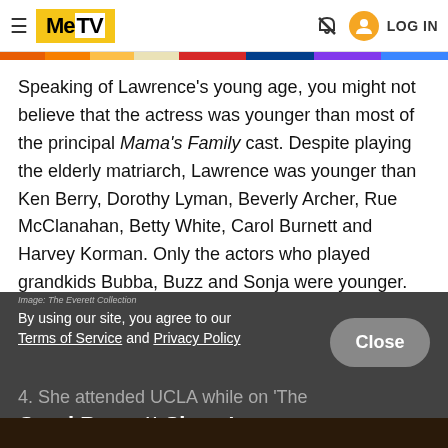MeTV | LOG IN
Speaking of Lawrence's young age, you might not believe that the actress was younger than most of the principal Mama's Family cast. Despite playing the elderly matriarch, Lawrence was younger than Ken Berry, Dorothy Lyman, Beverly Archer, Rue McClanahan, Betty White, Carol Burnett and Harvey Korman. Only the actors who played grandkids Bubba, Buzz and Sonja were younger.
Image: The Everett Collection
By using our site, you agree to our Terms of Service and Privacy Policy
4. She attended UCLA while on 'The Carol Burnett Show.'
[Figure (photo): Bottom portion of a dark photo, partially visible]